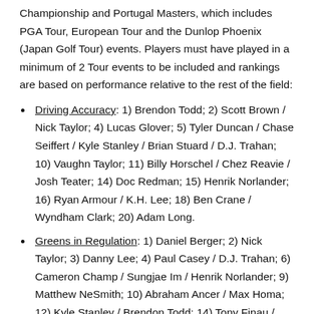Championship and Portugal Masters, which includes PGA Tour, European Tour and the Dunlop Phoenix (Japan Golf Tour) events. Players must have played in a minimum of 2 Tour events to be included and rankings are based on performance relative to the rest of the field:
Driving Accuracy: 1) Brendon Todd; 2) Scott Brown / Nick Taylor; 4) Lucas Glover; 5) Tyler Duncan / Chase Seiffert / Kyle Stanley / Brian Stuard / D.J. Trahan; 10) Vaughn Taylor; 11) Billy Horschel / Chez Reavie / Josh Teater; 14) Doc Redman; 15) Henrik Norlander; 16) Ryan Armour / K.H. Lee; 18) Ben Crane / Wyndham Clark; 20) Adam Long.
Greens in Regulation: 1) Daniel Berger; 2) Nick Taylor; 3) Danny Lee; 4) Paul Casey / D.J. Trahan; 6) Cameron Champ / Sungjae Im / Henrik Norlander; 9) Matthew NeSmith; 10) Abraham Ancer / Max Homa; 12) Kyle Stanley / Brendon Todd; 14) Tony Finau / Brendan Steele / Aaron Wise; 17) Billy Horschel / Russell Knox; 19) Adam Long / Matthew Wolff.
Scrambling: 1) Bryson DeChambeau; 2) Brendon Todd; 3)...